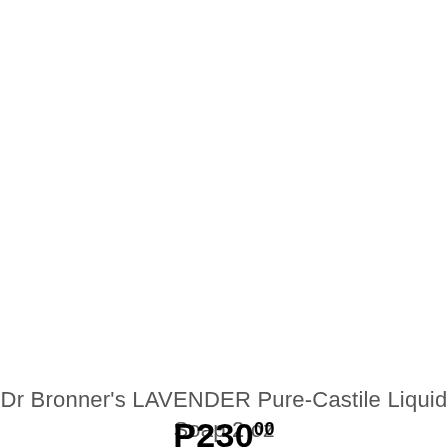[Figure (other): Black rectangle button bar with a white shopping cart icon on the left and a white heart icon on the right, separated by a faint divider.]
Dr Bronner's LAVENDER Pure-Castile Liquid Soap 2 oz
P230 00